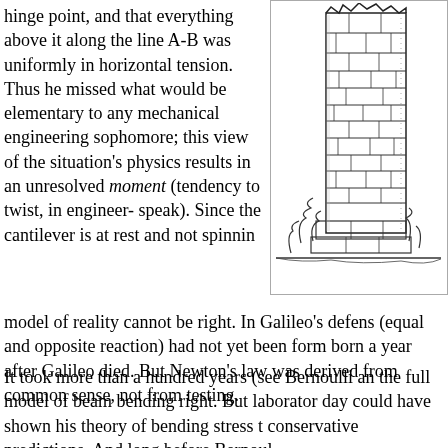hinge point, and that everything above it along the line A-B was uniformly in horizontal tension. Thus he missed what would be elementary to any mechanical engineering sophomore; this view of the situation's physics results in an unresolved moment (tendency to twist, in engineer-speak). Since the cantilever is at rest and not spinnin
[Figure (illustration): Black and white illustration of a tall ruined stone tower or wall structure with vegetation growing around its base, rendered in crosshatch/ink style.]
model of reality cannot be right. In Galileo's defens (equal and opposite reaction) had not yet been form born a year after Galileo died. But Newton's law was derived from common sense, not from testing.
It took more than a hundred years (see Bernoulli an the full model of beam bending right. But laborator day could have shown his theory of bending stress t conservative predictions. And long before Bernoul